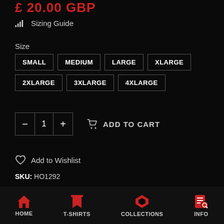£ 20.00 GBP
Sizing Guide
Size
SMALL
MEDIUM
LARGE
XLARGE
2XLARGE
3XLARGE
4XLARGE
1  ADD TO CART
Add to Wishlist
SKU: HO1292
Category: Blues T-Shirt Collection, Latest Designs, Music T-Shirts
HOME  T-SHIRTS  COLLECTIONS  INFO